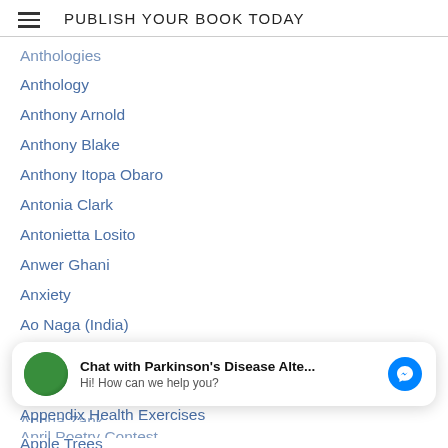PUBLISH YOUR BOOK TODAY
Anthologies
Anthology
Anthony Arnold
Anthony Blake
Anthony Itopa Obaro
Antonia Clark
Antonietta Losito
Anwer Ghani
Anxiety
Ao Naga (India)
Apatani (apt)
Aphorisms
Appendix Health Exercises
Apple Trees
[Figure (other): Chat widget with avatar, title 'Chat with Parkinson's Disease Alte...', subtitle 'Hi! How can we help you?', and Messenger icon]
Aphua Zank
April Poetry Contest